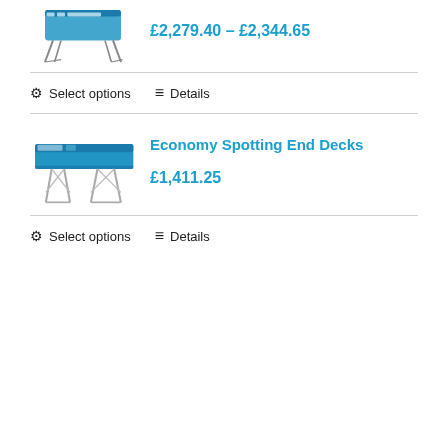£2,279.40 – £2,344.65
Select options   Details
Economy Spotting End Decks
£1,411.25
Select options   Details